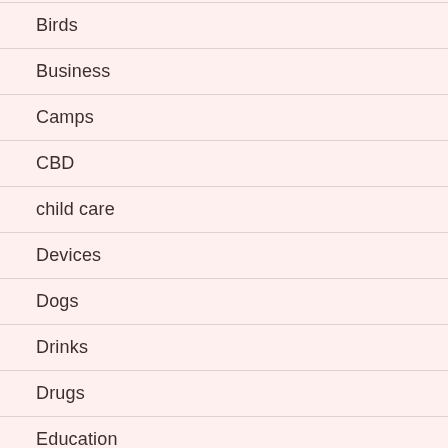Birds
Business
Camps
CBD
child care
Devices
Dogs
Drinks
Drugs
Education